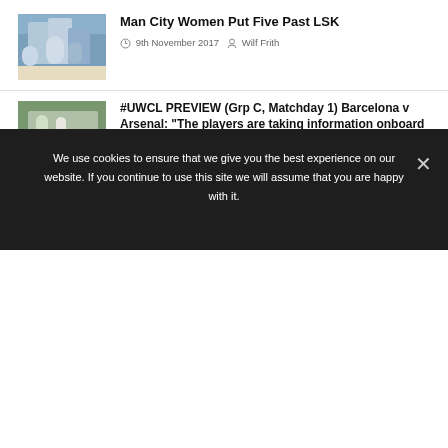[Figure (photo): Two Manchester City Women players in light blue celebrating, with another player in background]
Man City Women Put Five Past LSK
9th November 2017   Wilf Frith
[Figure (photo): People at a football pitch sideline, one wearing a red top]
#UWCL PREVIEW (Grp C, Matchday 1) Barcelona v Arsenal: "The players are taking information onboard so quickly, they're so intelligent," says Arsenal's Eidevall ahead of Barca test
5th October 2021   Jen O'Neill
#FAWSL: Man City Women break Reading resistance to go top
27th March 2021   Wilf Frith
We use cookies to ensure that we give you the best experience on our website. If you continue to use this site we will assume that you are happy with it.